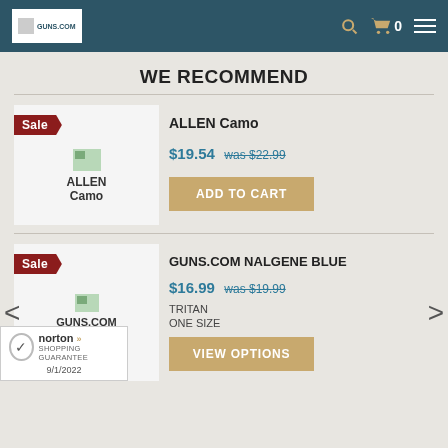GUNS.COM
WE RECOMMEND
[Figure (screenshot): Product image for ALLEN Camo with Sale tag]
ALLEN Camo
$19.54 was $22.99
ADD TO CART
[Figure (screenshot): Product image for GUNS.COM NALGENE BLUE with Sale tag]
GUNS.COM NALGENE BLUE
$16.99 was $19.99
TRITAN
ONE SIZE
VIEW OPTIONS
[Figure (logo): Norton Shopping Guarantee badge dated 9/1/2022]